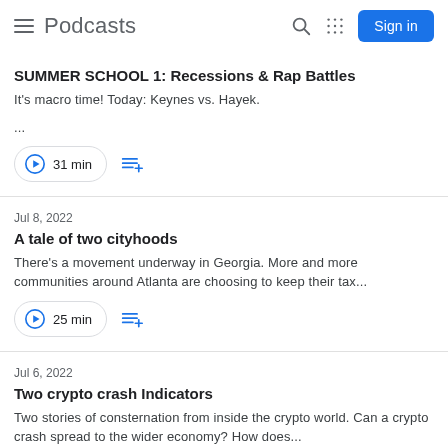Podcasts
SUMMER SCHOOL 1: Recessions & Rap Battles
It's macro time! Today: Keynes vs. Hayek.
...
31 min
Jul 8, 2022
A tale of two cityhoods
There's a movement underway in Georgia. More and more communities around Atlanta are choosing to keep their tax...
25 min
Jul 6, 2022
Two crypto crash Indicators
Two stories of consternation from inside the crypto world. Can a crypto crash spread to the wider economy? How does...